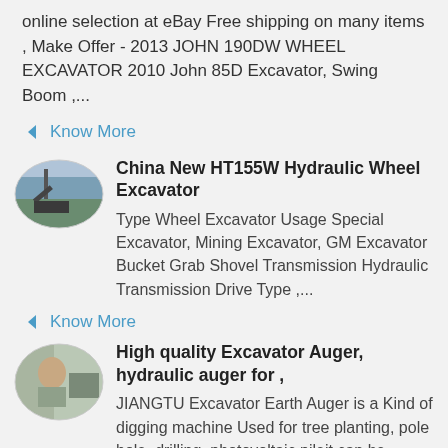online selection at eBay Free shipping on many items , Make Offer - 2013 JOHN 190DW WHEEL EXCAVATOR 2010 John 85D Excavator, Swing Boom ,...
Know More
[Figure (photo): Oval-framed photo of construction crane/excavator on a job site]
China New HT155W Hydraulic Wheel Excavator
Type Wheel Excavator Usage Special Excavator, Mining Excavator, GM Excavator Bucket Grab Shovel Transmission Hydraulic Transmission Drive Type ,...
Know More
[Figure (photo): Oval-framed photo of a man sitting in front of excavator equipment]
High quality Excavator Auger, hydraulic auger for ,
JIANGTU Excavator Earth Auger is a Kind of digging machine Used for tree planting, pole hole, drilling, photovoltaic pileit can be